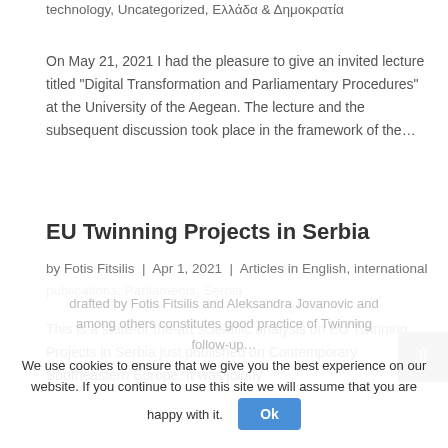technology, Uncategorized, Ελλάδα & Δημοκρατία
On May 21, 2021 I had the pleasure to give an invited lecture titled "Digital Transformation and Parliamentary Procedures" at the University of the Aegean. The lecture and the subsequent discussion took place in the framework of the…
EU Twinning Projects in Serbia
by Fotis Fitsilis | Apr 1, 2021 | Articles in English, international publications, Parliaments, Serbia
This is a state-of-the-art scientific analysis on EU Twinning Projects in Serbia just published on Contemporary Southeastern Europe. It was jointly drafted by Fotis Fitsilis and Aleksandra Jovanovic and among others constitutes good practice of Twinning follow-up…
We use cookies to ensure that we give you the best experience on our website. If you continue to use this site we will assume that you are happy with it.